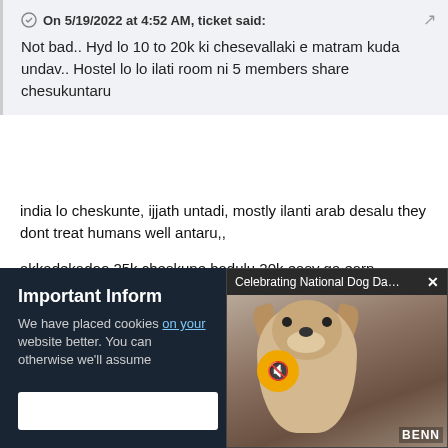On 5/19/2022 at 4:52 AM, ticket said:
Not bad.. Hyd lo 10 to 20k ki chesevallaki e matram kuda undav.. Hostel lo lo ilati room ni 5 members share chesukuntaru
india lo cheskunte, ijjath untadi, mostly ilanti arab desalu they dont treat humans well antaru,,
akkadekadoo 25k cheskune badulu 20k easy ga earn cheachu india lo, konchem kastapadali, but india lo family untadi, movies untayi, food untadi., friends untaru...ye kastam vachina andaru untaru.... kuwait lo evaru untaru man... ? he is living a lonely life among some people who
Important Inform
We have placed cookies on your website better. You can otherwise we'll assume
[Figure (screenshot): Video popup overlay with title 'Celebrating National Dog Day With a Ve...' and a close button X, showing a small dog (Yorkie) photo with a mute button and BENN label at bottom right]